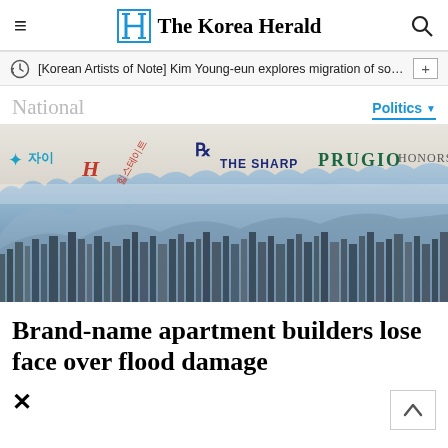The Korea Herald
[Korean Artists of Note] Kim Young-eun explores migration of sou…
National   Politics
[Figure (photo): Collage image showing Korean apartment brand logos (자이, 힐스테이트, THE SHARP, PRUGIO, HONORSV…) torn across the top, with a city skyline of apartment buildings and mountains in the background.]
Brand-name apartment builders lose face over flood damage